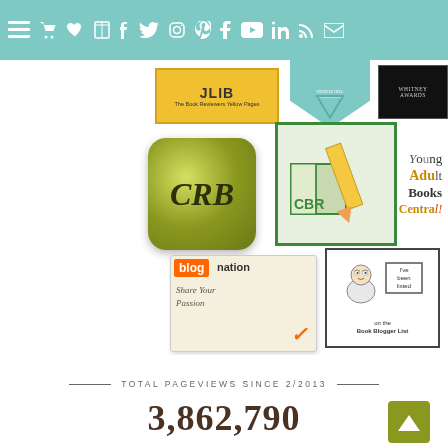Navigation bar with menu and social icons
[Figure (screenshot): Book reviewer website sidebar showing multiple badge logos: JLIB The Book Reviewers Yellow Pages, Steeple Hill literature badge, Whitney Awards, CRB logo on gold rounded square, CBR book and pencil logo, Young Adult Books Central text logo, Blog Nation Share Your Passion badge, I've been listed on the Book Blogger List badge]
TOTAL PAGEVIEWS SINCE 2/2013
3,862,790